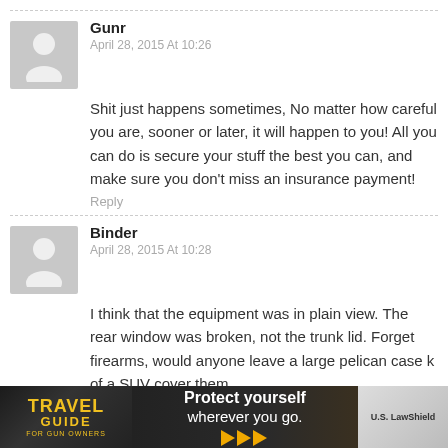Gunr
April 28, 2015 At 10:26
Shit just happens sometimes, No matter how careful you are, sooner or later, it will happen to you! All you can do is secure your stuff the best you can, and make sure you don't miss an insurance payment!
Reply
Binder
April 28, 2015 At 10:28
I think that the equipment was in plain view. The rear window was broken, not the trunk lid. Forget firearms, would anyone leave a large pelican case k of a SUV cover them.
[Figure (advertisement): Travel Guide for Gun Owners ad banner with text 'Protect yourself wherever you go.' and arrow icons, U.S. LawShield branding]